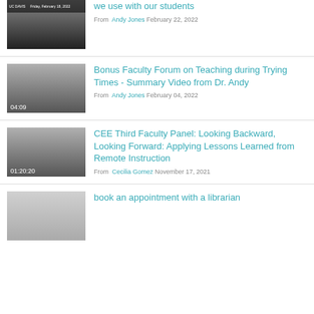we use with our students
From Andy Jones February 22, 2022
Bonus Faculty Forum on Teaching during Trying Times - Summary Video from Dr. Andy
From Andy Jones February 04, 2022
CEE Third Faculty Panel: Looking Backward, Looking Forward: Applying Lessons Learned from Remote Instruction
From Cecilia Gomez November 17, 2021
book an appointment with a librarian